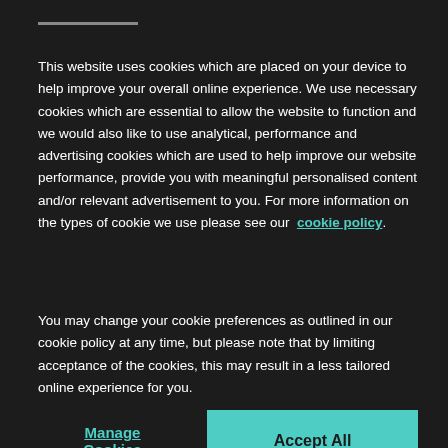This website uses cookies which are placed on your device to help improve your overall online experience. We use necessary cookies which are essential to allow the website to function and we would also like to use analytical, performance and advertising cookies which are used to help improve our website performance, provide you with meaningful personalised content and/or relevant advertisement to you. For more information on the types of cookie we use please see our cookie policy.
You may change your cookie preferences as outlined in our cookie policy at any time, but please note that by limiting acceptance of the cookies, this may result in a less tailored online experience for you.
Manage Cookies
Accept All
this stunning coastal escape.
Fentoun Road, Gullane, EH31 2HZ
from £ — £
Enqu